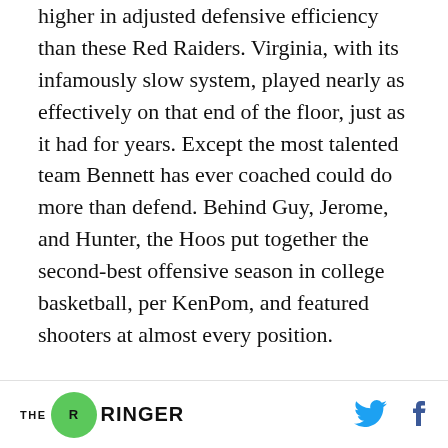higher in adjusted defensive efficiency than these Red Raiders. Virginia, with its infamously slow system, played nearly as effectively on that end of the floor, just as it had for years. Except the most talented team Bennett has ever coached could do more than defend. Behind Guy, Jerome, and Hunter, the Hoos put together the second-best offensive season in college basketball, per KenPom, and featured shooters at almost every position.
[Figure (other): Advertisement banner with dark background showing yellow-green cross/plus symbols and AD label in top left, with green objects visible in lower portion]
THE RINGER [logo] [Twitter icon] [Facebook icon]